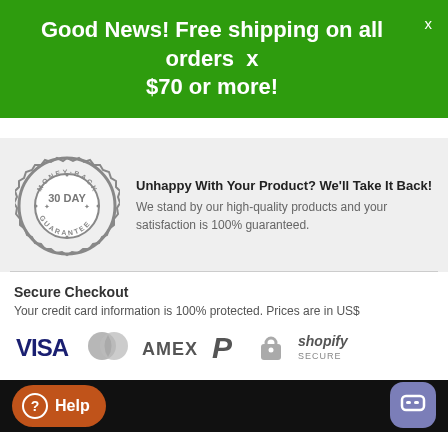Good News! Free shipping on all orders $70 or more!
[Figure (illustration): 30 Day Money-Back Guarantee badge/seal in gray]
Unhappy With Your Product? We'll Take It Back!
We stand by our high-quality products and your satisfaction is 100% guaranteed.
Secure Checkout
Your credit card information is 100% protected. Prices are in US$
[Figure (illustration): Payment method logos: VISA, Mastercard, AMEX, PayPal, secure lock, Shopify Secure]
[Figure (illustration): Help button (orange, rounded) and chat bubble button (purple, rounded square) in black footer bar]